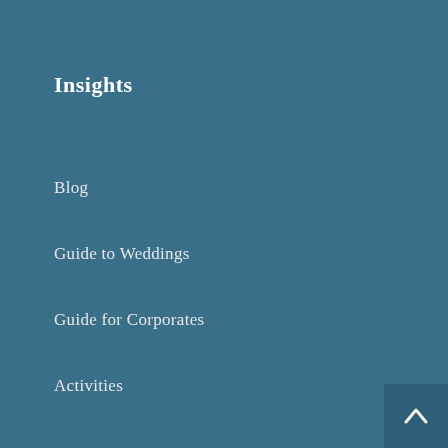Insights
Blog
Guide to Weddings
Guide for Corporates
Activities
Spaces
Rooms